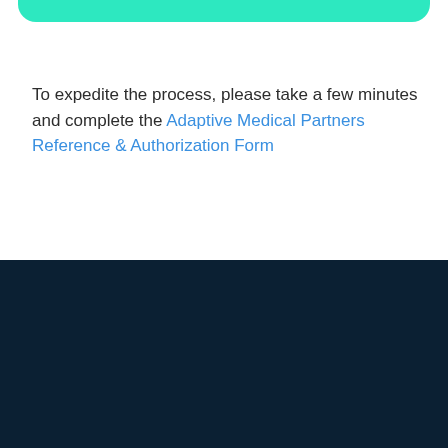[Figure (other): Green rounded bar/button at the top of the page]
To expedite the process, please take a few minutes and complete the Adaptive Medical Partners Reference & Authorization Form
[Figure (other): Dark navy blue footer bar at the bottom of the page]